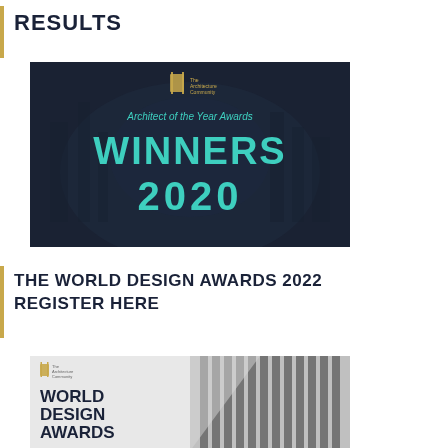RESULTS
[Figure (photo): Dark-themed promotional image for Architect of the Year Awards showing 'WINNERS 2020' in teal text with The Architecture Community logo]
THE WORLD DESIGN AWARDS 2022 REGISTER HERE
[Figure (photo): Black and white promotional image for World Design Awards 2022 with The Architecture Community logo and bold black text reading WORLD DESIGN AWARDS 2022]